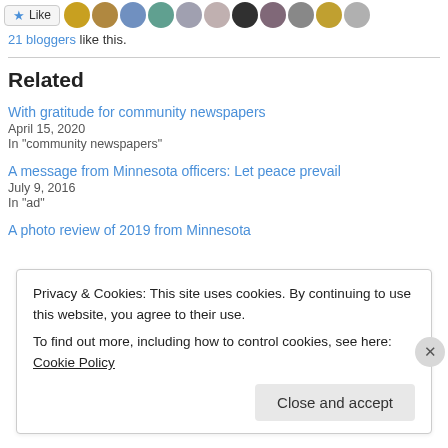[Figure (other): Like button and row of blogger avatar thumbnails]
21 bloggers like this.
Related
With gratitude for community newspapers
April 15, 2020
In "community newspapers"
A message from Minnesota officers: Let peace prevail
July 9, 2016
In "ad"
A photo review of 2019 from Minnesota
Privacy & Cookies: This site uses cookies. By continuing to use this website, you agree to their use.
To find out more, including how to control cookies, see here: Cookie Policy